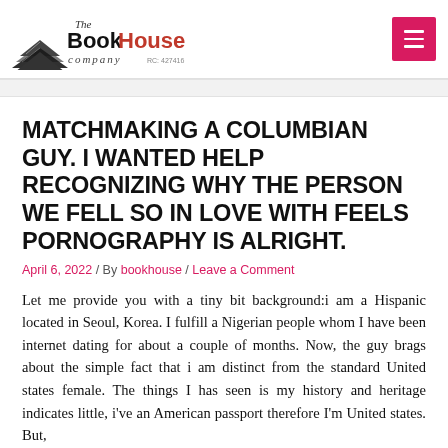[Figure (logo): The Book House Company logo with stacked books icon and RC: 427416]
MATCHMAKING A COLUMBIAN GUY. I WANTED HELP RECOGNIZING WHY THE PERSON WE FELL SO IN LOVE WITH FEELS PORNOGRAPHY IS ALRIGHT.
April 6, 2022 / By bookhouse / Leave a Comment
Let me provide you with a tiny bit background:i am a Hispanic located in Seoul, Korea. I fulfill a Nigerian people whom I have been internet dating for about a couple of months. Now, the guy brags about the simple fact that i am distinct from the standard United states female. The things I has seen is my history and heritage indicates little, i've an American passport therefore I'm United states. But,